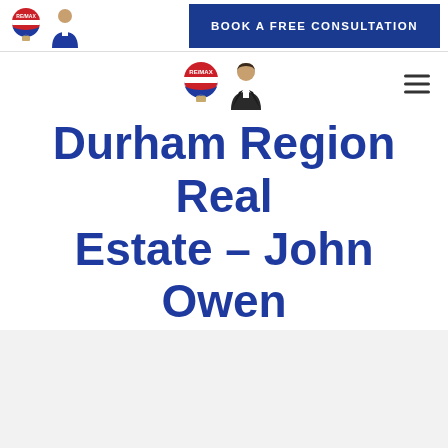[Figure (logo): RE/MAX balloon logo and agent photo in top navigation bar]
[Figure (logo): Book a free consultation button in top navigation bar]
[Figure (logo): RE/MAX balloon logo and agent photo in main navigation bar]
Durham Region Real Estate - John Owen